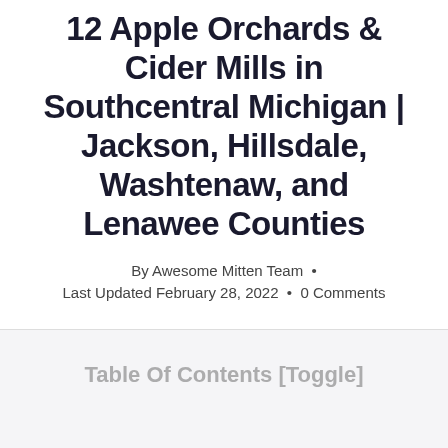12 Apple Orchards & Cider Mills in Southcentral Michigan | Jackson, Hillsdale, Washtenaw, and Lenawee Counties
By Awesome Mitten Team • Last Updated February 28, 2022 • 0 Comments
Table Of Contents [Toggle]